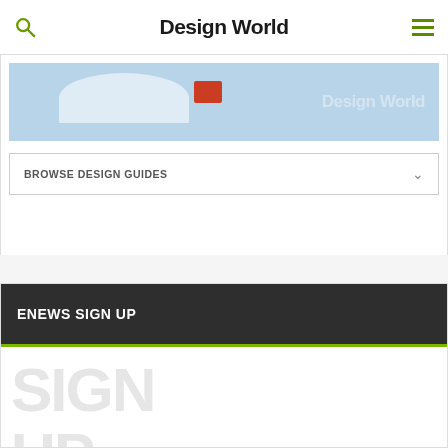Design World
[Figure (screenshot): Partial banner image with blue background, Design World watermark text, and a red accent element]
BROWSE DESIGN GUIDES
ENEWS SIGN UP
[Figure (illustration): Large ghost/watermark style text reading 'SIGN UP' in light gray on white background]